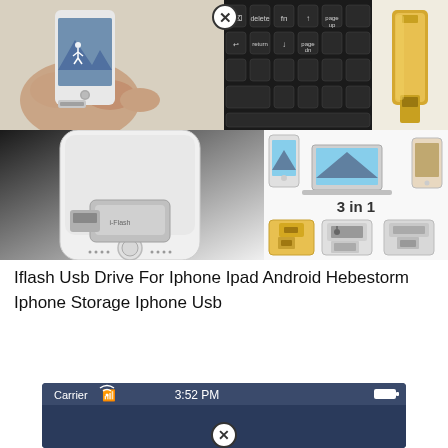[Figure (photo): Product collage of iFlash USB drive: top-left shows hand holding iPhone with USB drive inserted, top-center shows keyboard keys, top-right shows gold USB drive close-up; bottom-left shows USB drive plugged into iPhone (3-in-1 design), bottom-right shows '3 in 1' label with three connector variants (Lightning, USB-A, Micro-USB) and compatible devices (iPhone, MacBook, Android phone)]
Iflash Usb Drive For Iphone Ipad Android Hebestorm Iphone Storage Iphone Usb
[Figure (screenshot): iPhone screenshot showing status bar with 'Carrier', WiFi icon, '3:52 PM', and battery icon on dark blue background, with a close/cancel button circle at the bottom]